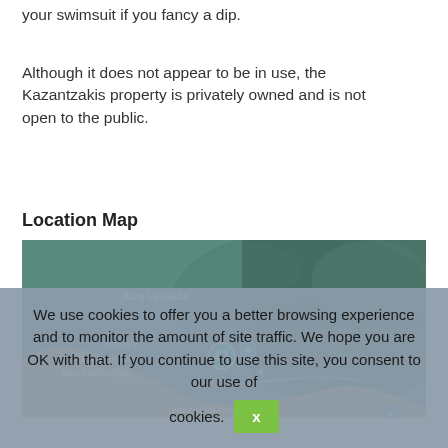your swimsuit if you fancy a dip.
Although it does not appear to be in use, the Kazantzakis property is privately owned and is not open to the public.
Location Map
[Figure (map): Google Maps satellite view showing coastal area with labels: Ákra Leivádia, Nikos's tzakis House, kou Καζαντζάκη, and partial text Νεκροταφείο Αγιωτζέν]
We use cookies to offer you a better browsing experience and to monitor the amount of site traffic. We hope you are OK with that. If you continue to use this site, you consent to our use of cookies.